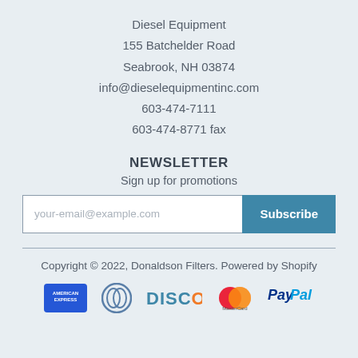Diesel Equipment
155 Batchelder Road
Seabrook, NH 03874
info@dieselequipmentinc.com
603-474-7111
603-474-8771 fax
NEWSLETTER
Sign up for promotions
your-email@example.com | Subscribe
Copyright © 2022, Donaldson Filters. Powered by Shopify
[Figure (logo): Payment method icons: American Express, Diners Club, Discover, MasterCard, PayPal]